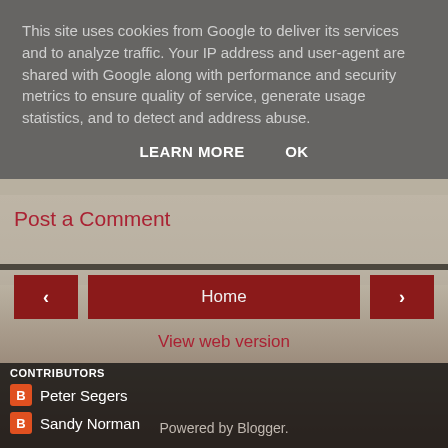This site uses cookies from Google to deliver its services and to analyze traffic. Your IP address and user-agent are shared with Google along with performance and security metrics to ensure quality of service, generate usage statistics, and to detect and address abuse.
LEARN MORE   OK
Post a Comment
< Home >
View web version
CONTRIBUTORS
Peter Segers
Sandy Norman
Powered by Blogger.